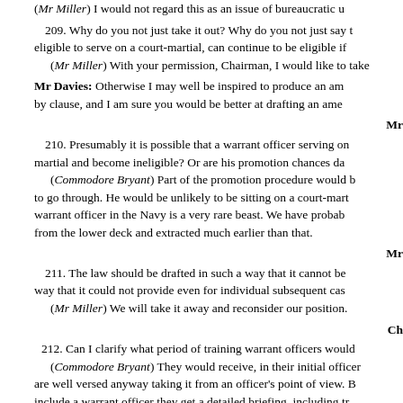(*Mr Miller*) I would not regard this as an issue of bureaucratic u
209. Why do you not just take it out? Why do you not just say that eligible to serve on a court-martial, can continue to be eligible if
(*Mr Miller*) With your permission, Chairman, I would like to take
Mr Davies: Otherwise I may well be inspired to produce an am by clause, and I am sure you would be better at drafting an ame
Mr
210. Presumably it is possible that a warrant officer serving on martial and become ineligible? Or are his promotion chances da
(*Commodore Bryant*) Part of the promotion procedure would b to go through. He would be unlikely to be sitting on a court-mart warrant officer in the Navy is a very rare beast. We have proba from the lower deck and extracted much earlier than that.
Mr
211. The law should be drafted in such a way that it cannot be way that it could not provide even for individual subsequent cas
(*Mr Miller*) We will take it away and reconsider our position.
Ch
212. Can I clarify what period of training warrant officers would
(*Commodore Bryant*) They would receive, in their initial officer are well versed anyway taking it from an officer's point of view. B include a warrant officer they get a detailed briefing, including tr the procedure of a court-martial—and that includes the sort of d account of. They will also receive a briefing by the judge advoca